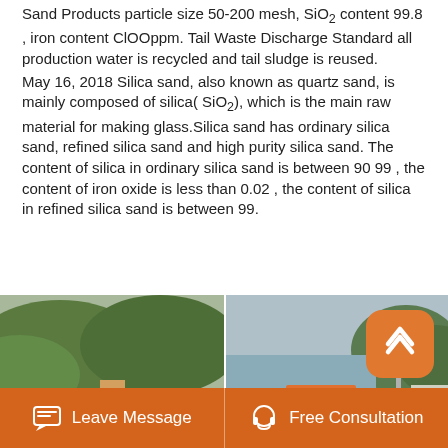Sand Products particle size 50-200 mesh, SiO2 content 99.8 , iron content ClOOppm. Tail Waste Discharge Standard all production water is recycled and tail sludge is reused.
May 16, 2018 Silica sand, also known as quartz sand, is mainly composed of silica( SiO2), which is the main raw material for making glass.Silica sand has ordinary silica sand, refined silica sand and high purity silica sand. The content of silica in ordinary silica sand is between 90 99 , the content of iron oxide is less than 0.02 , the content of silica in refined silica sand is between 99.
[Figure (photo): Two photos side by side showing industrial silica sand processing equipment outdoors — conveyor belts, crushers, and processing machinery at a quarry site with green hills in background.]
[Figure (other): Orange rounded-square scroll-to-top button with upward chevron icon]
Leave Message   Free Consultation